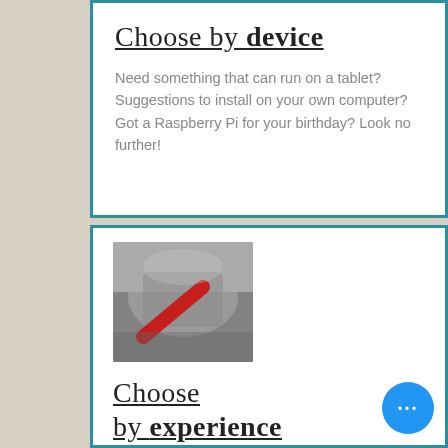Choose by device
Need something that can run on a tablet? Suggestions to install on your own computer? Got a Raspberry Pi for your birthday? Look no further!
[Figure (photo): Blurred grayscale image with a red diagonal element, possibly a device or hardware close-up]
Choose by experience
Not sure what you want to do? Here are